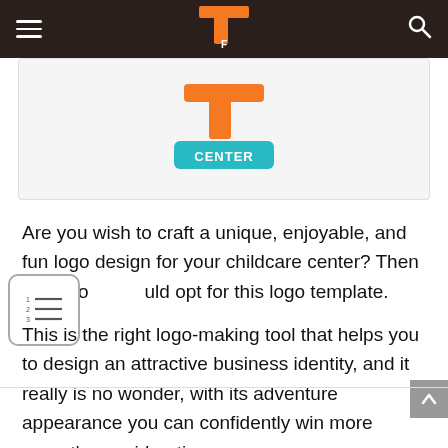Navigation bar with hamburger menu, logo, and search icon
[Figure (logo): Partial childcare center logo with orange and teal colors, text reading CENTER visible at bottom]
Are you wish to craft a unique, enjoyable, and fun logo design for your childcare center? Then you should opt for this logo template.
This is the right logo-making tool that helps you to design an attractive business identity, and it really is no wonder, with its adventure appearance you can confidently win more parent’s consideration.